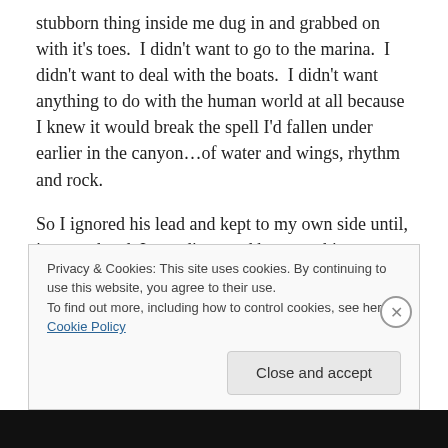stubborn thing inside me dug in and grabbed on with it's toes.  I didn't want to go to the marina.  I didn't want to deal with the boats.  I didn't want anything to do with the human world at all because I knew it would break the spell I'd fallen under earlier in the canyon…of water and wings, rhythm and rock.

So I ignored his lead and kept to my own side until, just up ahead, I was distracted by something strange floating on the water.  It wasn't the occasional driftwood or flotsam or jetsam bumping past my boat.  It was soft brown and
Privacy & Cookies: This site uses cookies. By continuing to use this website, you agree to their use.
To find out more, including how to control cookies, see here: Cookie Policy